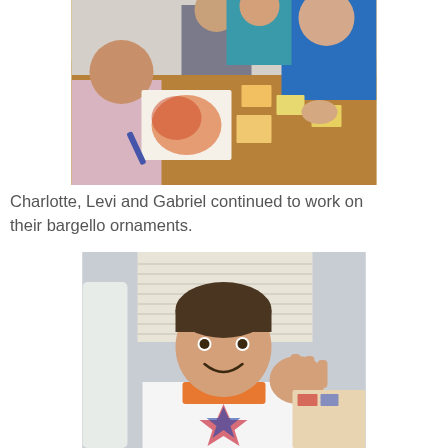[Figure (photo): Children and an adult sitting around a wooden table working on craft projects with papers and markers spread on the table. A girl in the foreground is drawing on a large piece of paper.]
Charlotte, Levi and Gabriel continued to work on their bargello ornaments.
[Figure (photo): A young boy smiling at the camera and making an OK sign with his hand, wearing a white shirt with an orange collar, standing in a room with a window blind visible in the background.]